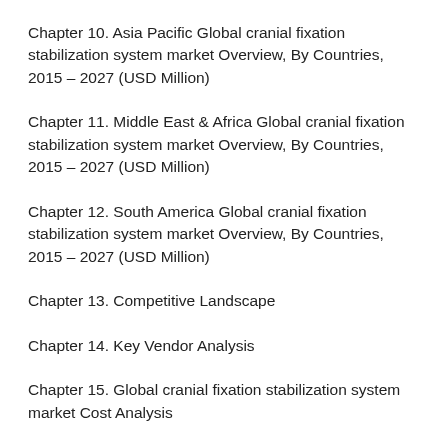Chapter 10. Asia Pacific Global cranial fixation stabilization system market Overview, By Countries, 2015 – 2027 (USD Million)
Chapter 11. Middle East & Africa Global cranial fixation stabilization system market Overview, By Countries, 2015 – 2027 (USD Million)
Chapter 12. South America Global cranial fixation stabilization system market Overview, By Countries, 2015 – 2027 (USD Million)
Chapter 13. Competitive Landscape
Chapter 14. Key Vendor Analysis
Chapter 15. Global cranial fixation stabilization system market Cost Analysis